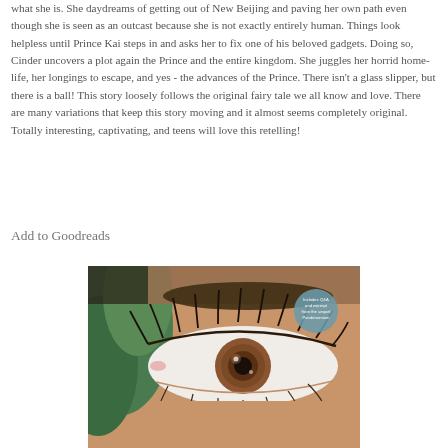what she is. She daydreams of getting out of New Beijing and paving her own path even though she is seen as an outcast because she is not exactly entirely human. Things look helpless until Prince Kai steps in and asks her to fix one of his beloved gadgets. Doing so, Cinder uncovers a plot again the Prince and the entire kingdom. She juggles her horrid home-life, her longings to escape, and yes - the advances of the Prince. There isn't a glass slipper, but there is a ball! This story loosely follows the original fairy tale we all know and love. There are many variations that keep this story moving and it almost seems completely original. Totally interesting, captivating, and teens will love this retelling!
Add to Goodreads
[Figure (photo): Close-up photo of a young woman's eye with brown iris, with green foliage partially visible. A circular teal badge in the upper right reads 'Includes Q&A and excerpt from the sequel Pandemonium'.]